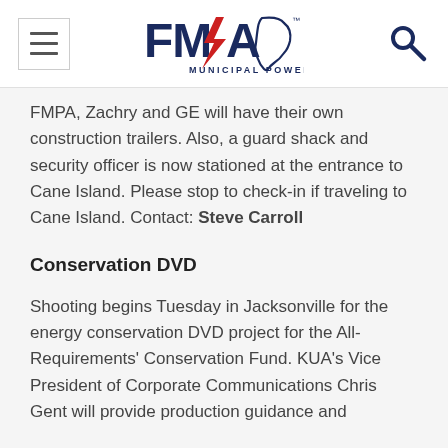FMPA Municipal Power
FMPA, Zachry and GE will have their own construction trailers. Also, a guard shack and security officer is now stationed at the entrance to Cane Island. Please stop to check-in if traveling to Cane Island. Contact: Steve Carroll
Conservation DVD
Shooting begins Tuesday in Jacksonville for the energy conservation DVD project for the All-Requirements' Conservation Fund. KUA's Vice President of Corporate Communications Chris Gent will provide production guidance and